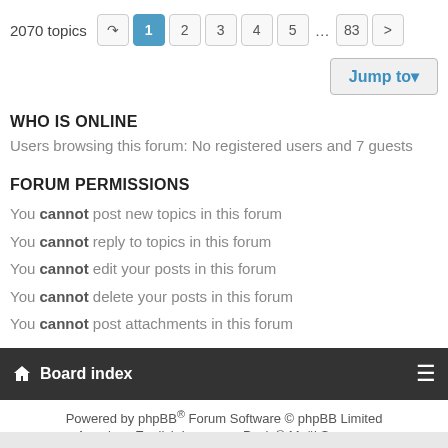2070 topics  1  2  3  4  5  ...  83  >
Jump to▾
WHO IS ONLINE
Users browsing this forum: No registered users and 7 guests
FORUM PERMISSIONS
You cannot post new topics in this forum
You cannot reply to topics in this forum
You cannot edit your posts in this forum
You cannot delete your posts in this forum
You cannot post attachments in this forum
Board index
Powered by phpBB® Forum Software © phpBB Limited
American English Language Pack © Maël Soucaze